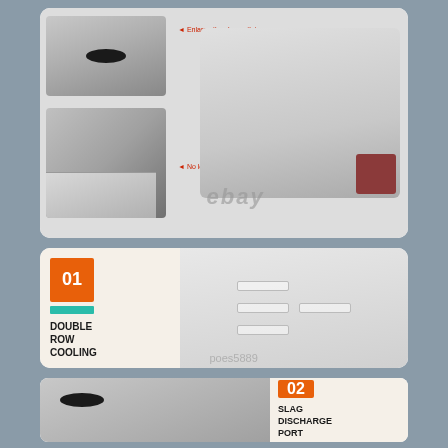[Figure (photo): Product detail images of commercial electric griddle showing enlarged slag outlet slot, oil collection tray, and full griddle unit with red annotation arrows]
Enlarge the slag outlet
No longer worry about overflowing oil
[Figure (photo): Product detail image of cooling vents on side of griddle with orange badge number 01 and teal accent bar]
01
DOUBLE ROW COOLING
[Figure (photo): Close-up of slag discharge port slot on griddle surface with orange badge number 02]
02
SLAG DISCHARGE PORT